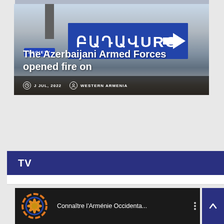[Figure (photo): News article card with photo of Armenian road sign in blue with Armenian script and arrow, rubble in foreground, chimney on left, overlaid with article title and metadata]
SOCIETY
The Azerbaijani Armed Forces opened fire on
J JUL, 2022   WESTERN ARMENIA
TV
[Figure (screenshot): Video thumbnail with orange/blue logo and title 'Connaître l'Arménie Occidenta...' with three-dot menu icon]